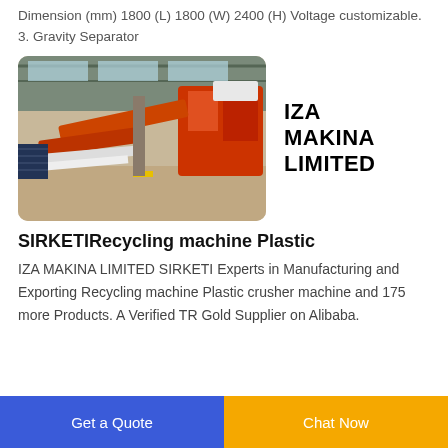Dimension (mm) 1800 (L) 1800 (W) 2400 (H) Voltage customizable. 3. Gravity Separator
[Figure (photo): Industrial recycling machine / plastic crusher equipment inside a warehouse, showing orange-colored conveyor and processing machinery]
IZA MAKINA LIMITED
SIRKETIRecycling machine Plastic
IZA MAKINA LIMITED SIRKETI Experts in Manufacturing and Exporting Recycling machine Plastic crusher machine and 175 more Products. A Verified TR Gold Supplier on Alibaba.
Get a Quote  Chat Now